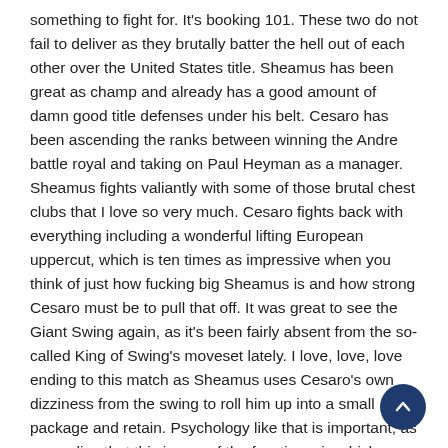something to fight for. It's booking 101. These two do not fail to deliver as they brutally batter the hell out of each other over the United States title. Sheamus has been great as champ and already has a good amount of damn good title defenses under his belt. Cesaro has been ascending the ranks between winning the Andre battle royal and taking on Paul Heyman as a manager. Sheamus fights valiantly with some of those brutal chest clubs that I love so very much. Cesaro fights back with everything including a wonderful lifting European uppercut, which is ten times as impressive when you think of just how fucking big Sheamus is and how strong Cesaro must be to pull that off. It was great to see the Giant Swing again, as it's been fairly absent from the so-called King of Swing's moveset lately. I love, love, love ending to this match as Sheamus uses Cesaro's own dizziness from the swing to roll him up into a small package and retain. Psychology like that is important, as we realize that this is one of the few times in which Sheamus is out-muscled in a match, but he used his wits to retain instead.